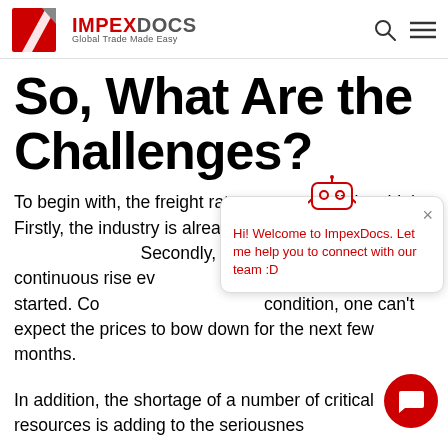IMPEXDOCS Global Trade Made Easy
So, What Are the Challenges?
To begin with, the freight rates are at an all-time high. Firstly, the industry is already a hard-hit by the pan[demic situation]. Secondly, the oil and [gas prices are witnessing] a continuous rise ev[en before the war in] Ukraine started. Con[sidering the current] condition, one can't expect the prices to bow down for the next few months.
In addition, the shortage of a number of critical resources is adding to the seriousness